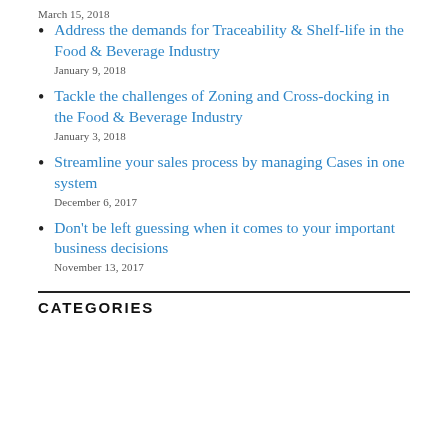March 15, 2018
Address the demands for Traceability & Shelf-life in the Food & Beverage Industry
January 9, 2018
Tackle the challenges of Zoning and Cross-docking in the Food & Beverage Industry
January 3, 2018
Streamline your sales process by managing Cases in one system
December 6, 2017
Don't be left guessing when it comes to your important business decisions
November 13, 2017
CATEGORIES